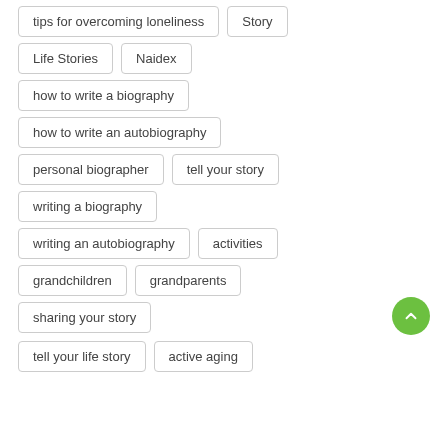tips for overcoming loneliness
Story
Life Stories
Naidex
how to write a biography
how to write an autobiography
personal biographer
tell your story
writing a biography
writing an autobiography
activities
grandchildren
grandparents
sharing your story
tell your life story
active aging